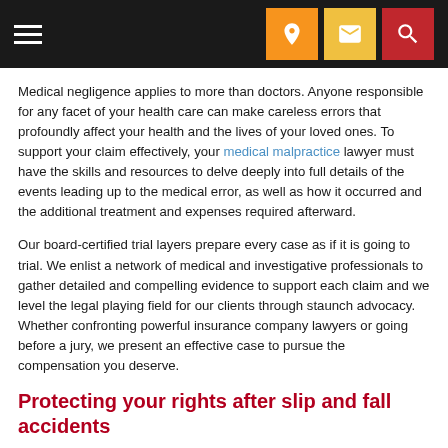[Navigation bar with hamburger menu and icons]
Medical negligence applies to more than doctors. Anyone responsible for any facet of your health care can make careless errors that profoundly affect your health and the lives of your loved ones. To support your claim effectively, your medical malpractice lawyer must have the skills and resources to delve deeply into full details of the events leading up to the medical error, as well as how it occurred and the additional treatment and expenses required afterward.
Our board-certified trial layers prepare every case as if it is going to trial. We enlist a network of medical and investigative professionals to gather detailed and compelling evidence to support each claim and we level the legal playing field for our clients through staunch advocacy. Whether confronting powerful insurance company lawyers or going before a jury, we present an effective case to pursue the compensation you deserve.
Protecting your rights after slip and fall accidents
Public and private property owners and managers have a strict